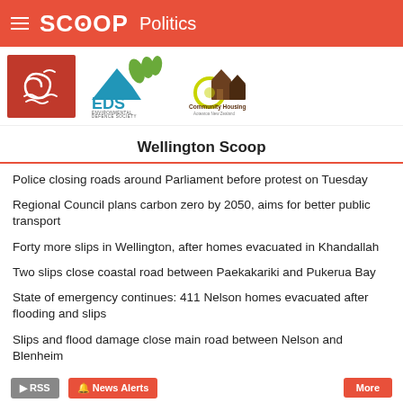SCOOP Politics
[Figure (logo): Three logos: a red square with spiral/wave symbol, EDS Environmental Defence Society logo with blue mountain and green leaves, and Community Housing logo with house silhouettes]
Wellington Scoop
Police closing roads around Parliament before protest on Tuesday
Regional Council plans carbon zero by 2050, aims for better public transport
Forty more slips in Wellington, after homes evacuated in Khandallah
Two slips close coastal road between Paekakariki and Pukerua Bay
State of emergency continues: 411 Nelson homes evacuated after flooding and slips
Slips and flood damage close main road between Nelson and Blenheim
Wellington house prices still going up, but not so fast
RSS  News Alerts  More